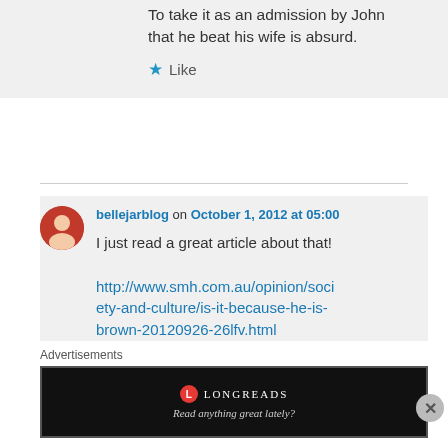To take it as an admission by John that he beat his wife is absurd.
★ Like
bellejarblog on October 1, 2012 at 05:00
I just read a great article about that!
http://www.smh.com.au/opinion/society-and-culture/is-it-because-he-is-brown-20120926-26lfv.html
Advertisements
[Figure (screenshot): Longreads advertisement banner with text 'Read anything great lately?']